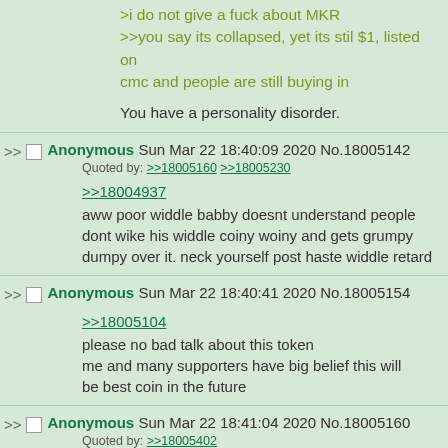>i do not give a fuck about MKR
>>you say its collapsed, yet its stil $1, listed on cmc and people are still buying in

You have a personality disorder.
Anonymous Sun Mar 22 18:40:09 2020 No.18005142
Quoted by: >>18005160 >>18005230

>>18004937
aww poor widdle babby doesnt understand people dont wike his widdle coiny woiny and gets grumpy dumpy over it. neck yourself post haste widdle retard
Anonymous Sun Mar 22 18:40:41 2020 No.18005154

>>18005104
please no bad talk about this token
me and many supporters have big belief this will be best coin in the future
Anonymous Sun Mar 22 18:41:04 2020 No.18005160
Quoted by: >>18005402